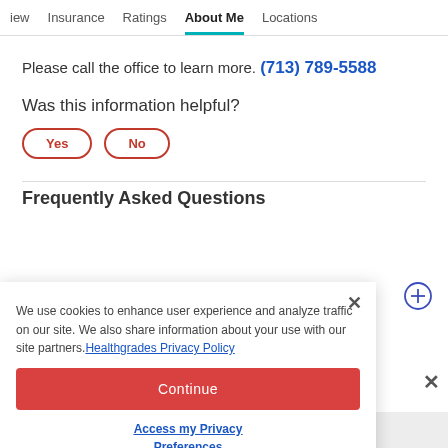iew  Insurance  Ratings  About Me  Locations
Please call the office to learn more. (713) 789-5588
Was this information helpful?
Yes
No
Frequently Asked Questions
We use cookies to enhance user experience and analyze traffic on our site. We also share information about your use with our site partners. Healthgrades Privacy Policy
Continue
Access my Privacy Preferences